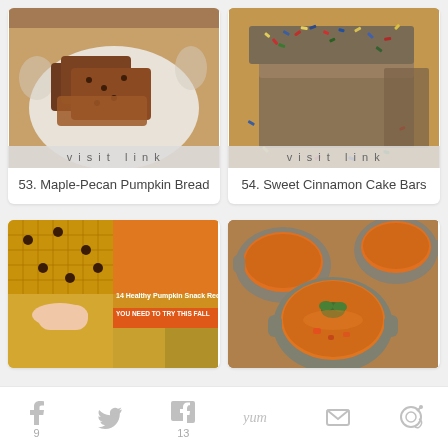[Figure (photo): Overhead view of sliced pumpkin bread on a floral plate]
visit link
53. Maple-Pecan Pumpkin Bread
[Figure (photo): Stacked cinnamon cake bars with colorful sprinkles on top]
visit link
54. Sweet Cinnamon Cake Bars
[Figure (photo): Collage of healthy pumpkin snack recipes with text: 14 Healthy Pumpkin Snack Recipes YOU NEED TO TRY THIS FALL]
[Figure (photo): Three gray bowls of orange soup with green herb garnish on wooden surface]
[Figure (infographic): Social sharing bar with Pinterest (9), Twitter, Facebook (13), Yum, Email, and camera/share icons]